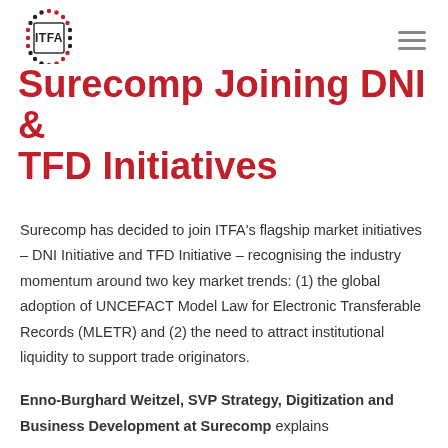ITFA logo and navigation menu
Surecomp Joining DNI & TFD Initiatives
Surecomp has decided to join ITFA's flagship market initiatives – DNI Initiative and TFD Initiative – recognising the industry momentum around two key market trends: (1) the global adoption of UNCEFACT Model Law for Electronic Transferable Records (MLETR) and (2) the need to attract institutional liquidity to support trade originators.
Enno-Burghard Weitzel, SVP Strategy, Digitization and Business Development at Surecomp explains